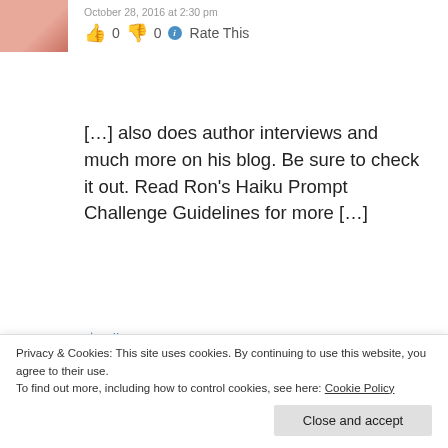[Figure (photo): Small avatar photo, top left, pinkish/reddish tones]
October 28, 2016 at 2:30 pm
👍 0 👎 0 ℹ Rate This
[…] also does author interviews and much more on his blog. Be sure to check it out. Read Ron's Haiku Prompt Challenge Guidelines for more […]
★ Like
[Figure (photo): Avatar photo of person with blonde hair]
Haiku Friday – Creep & Race | The Writer Next
Privacy & Cookies: This site uses cookies. By continuing to use this website, you agree to their use.
To find out more, including how to control cookies, see here: Cookie Policy
Close and accept
much more on his blog. Be sure to